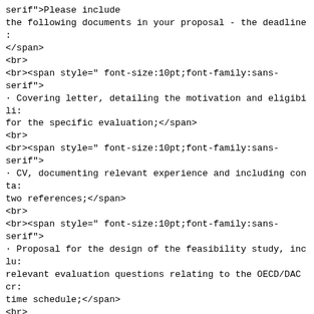serif">Please include
the following documents in your proposal - the deadline :
</span>
<br>
<br><span style=" font-size:10pt;font-family:sans-
serif">
· Covering letter, detailing the motivation and eligibili:
for the specific evaluation;</span>
<br>
<br><span style=" font-size:10pt;font-family:sans-
serif">
· CV, documenting relevant experience and including conta:
two references;</span>
<br>
<br><span style=" font-size:10pt;font-family:sans-
serif">
· Proposal for the design of the feasibility study, inclu:
relevant evaluation questions relating to the OECD/DAC cr:
time schedule;</span>
<br>
<br><span style=" font-size:10pt;font-family:sans-
serif">
· List of expenditures, broken down into costs for person:
and travel, as well as an indication of the number of wor:
consultant(s) are planning to spend on the evaluation.
</span>
<br>
<br><span style=" font-size:10pt;font-family:sans-
serif">We look forward
to receiving you proposals!</span>